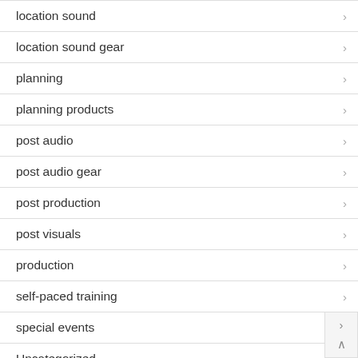location sound
location sound gear
planning
planning products
post audio
post audio gear
post production
post visuals
production
self-paced training
special events
Uncategorized
visual fx products